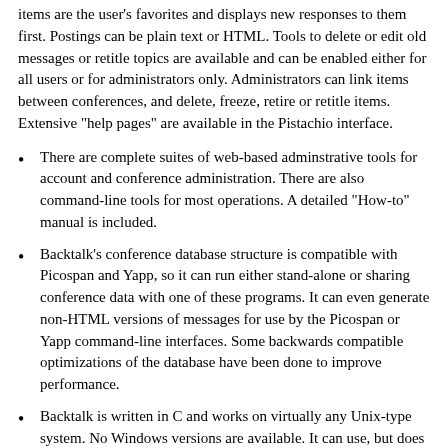items are the user's favorites and displays new responses to them first. Postings can be plain text or HTML. Tools to delete or edit old messages or retitle topics are available and can be enabled either for all users or for administrators only. Administrators can link items between conferences, and delete, freeze, retire or retitle items. Extensive "help pages" are available in the Pistachio interface.
There are complete suites of web-based adminstrative tools for account and conference administration. There are also command-line tools for most operations. A detailed "How-to" manual is included.
Backtalk's conference database structure is compatible with Picospan and Yapp, so it can run either stand-alone or sharing conference data with one of these programs. It can even generate non-HTML versions of messages for use by the Picospan or Yapp command-line interfaces. Some backwards compatible optimizations of the database have been done to improve performance.
Backtalk is written in C and works on virtually any Unix-type system. No Windows versions are available. It can use, but does not require, MySQL or PostgreSQL.